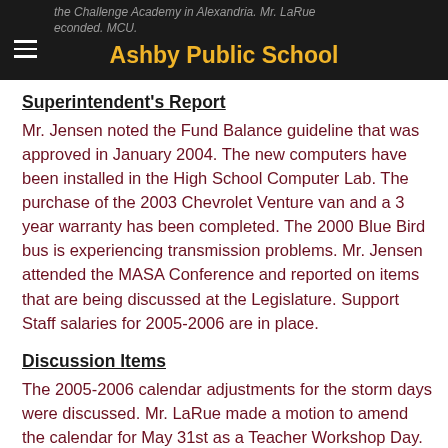the Challenge Academy in Alexandria.  Mr. LaRue seconded.  MCU.    Ashby Public School
Superintendent's Report
Mr. Jensen noted the Fund Balance guideline that was approved in January 2004.  The new computers have been installed in the High School Computer Lab.  The purchase of the 2003 Chevrolet Venture van and a 3 year warranty has been completed.  The 2000 Blue Bird bus is experiencing transmission problems.  Mr. Jensen attended the MASA Conference and reported on items that are being discussed at the Legislature. Support Staff salaries for 2005-2006 are in place.
Discussion Items
The 2005-2006 calendar adjustments for the storm days were discussed.  Mr. LaRue made a motion to amend the calendar for May 31st as a Teacher Workshop Day.  Mrs. Wing seconded.  MCU.